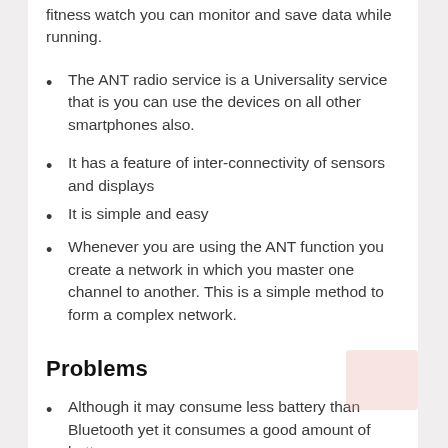fitness watch you can monitor and save data while running.
The ANT radio service is a Universality service that is you can use the devices on all other smartphones also.
It has a feature of inter-connectivity of sensors and displays
It is simple and easy
Whenever you are using the ANT function you create a network in which you master one channel to another. This is a simple method to form a complex network.
Problems
Although it may consume less battery than Bluetooth yet it consumes a good amount of battery
Antennas are essential for ANT services and phones already have them but they might b interrupted.
Some users have issues about the ANT service not